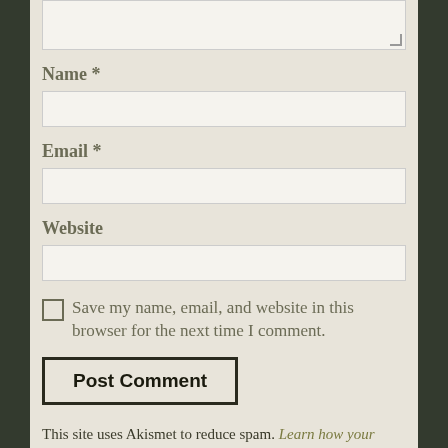[textarea top partial]
Name *
[Name input field]
Email *
[Email input field]
Website
[Website input field]
Save my name, email, and website in this browser for the next time I comment.
Post Comment
This site uses Akismet to reduce spam. Learn how your comment data is processed.